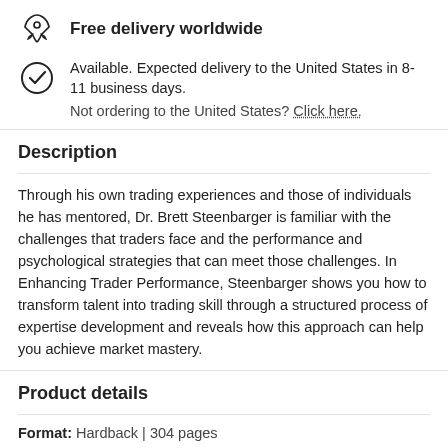Free delivery worldwide
Available. Expected delivery to the United States in 8-11 business days.
Not ordering to the United States? Click here.
Description
Through his own trading experiences and those of individuals he has mentored, Dr. Brett Steenbarger is familiar with the challenges that traders face and the performance and psychological strategies that can meet those challenges. In Enhancing Trader Performance, Steenbarger shows you how to transform talent into trading skill through a structured process of expertise development and reveals how this approach can help you achieve market mastery.
Product details
Format: Hardback | 304 pages